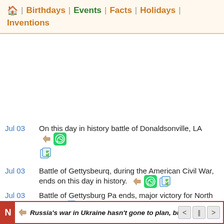🏠 | Birthdays | Events | Facts | Holidays | Inventions
Jul 03  On this day in history battle of Donaldsonville, LA
Jul 03  Battle of Gettysbeurq, during the American Civil War, ends on this day in history.
Jul 03  Battle of Gettysburg Pa ends, major victory for North on
Russia's war in Ukraine hasn't gone to plan, but Putinism